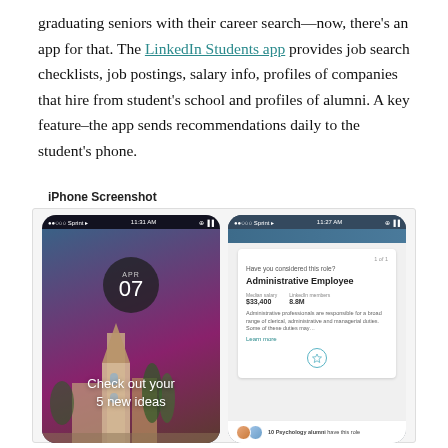graduating seniors with their career search—now, there's an app for that. The LinkedIn Students app provides job search checklists, job postings, salary info, profiles of companies that hire from student's school and profiles of alumni. A key feature–the app sends recommendations daily to the student's phone.
iPhone Screenshot
[Figure (screenshot): Two iPhone screenshots of the LinkedIn Students app. Left screen shows a date (APR 07) in a dark circle over a campus background photo with text 'Check out your 5 new ideas'. Right screen shows a job recommendation card: 'Have you considered this role? Administrative Employee. Median salary $33,400. LinkedIn members 8.8M. Administrative professionals are responsible for a broad range of clerical, administrative and managerial duties. Some of these duties may... Learn more'. A star/bookmark button is shown, and below: '10 Psychology alumni have this role'.]